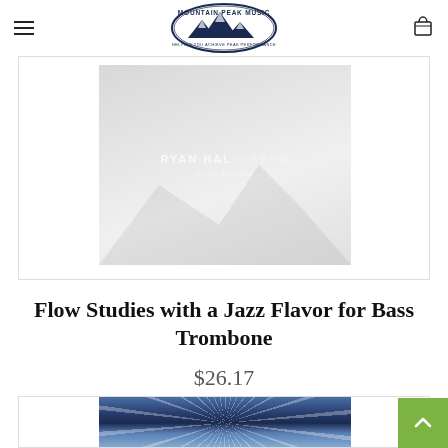[Figure (logo): Mountain Peak Music logo — oval shape with mountain illustration and text 'MOUNTAIN PEAK MUSIC', 'HELPING YOU ACHIEVE PEAK PERFORMANCE']
[Figure (photo): Book/sheet music cover for 'Flow Studies with a Jazz Flavor for Bass Trombone' by Ryan Halverson — light gray gradient background with large faded author text and mountain silhouette]
Flow Studies with a Jazz Flavor for Bass Trombone
$26.17
[Figure (photo): Partial view of another product image — dark blue crystalline/snowflake pattern]